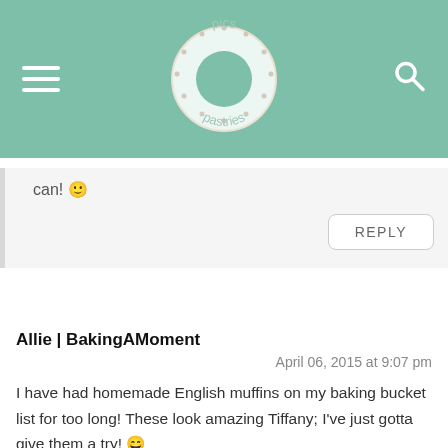[Figure (logo): Pics Pastries donut logo on green header bar]
can! 🙂
REPLY
Allie | BakingAMoment
April 06, 2015 at 9:07 pm
I have had homemade English muffins on my baking bucket list for too long! These look amazing Tiffany; I've just gotta give them a try! 😄